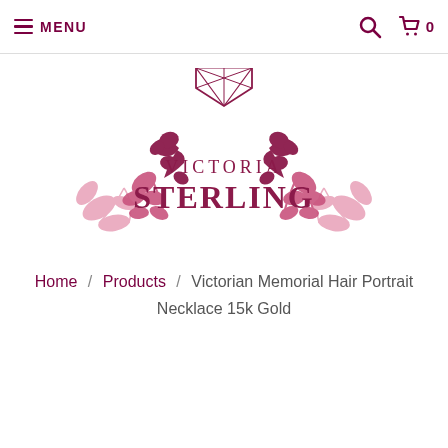≡ MENU
[Figure (logo): Victoria Sterling logo with decorative floral scrollwork in pink and dark rose/maroon, featuring a diamond gem above the brand name. Text reads 'VICTORIA STERLING' in stylized font.]
Home / Products / Victorian Memorial Hair Portrait Necklace 15k Gold